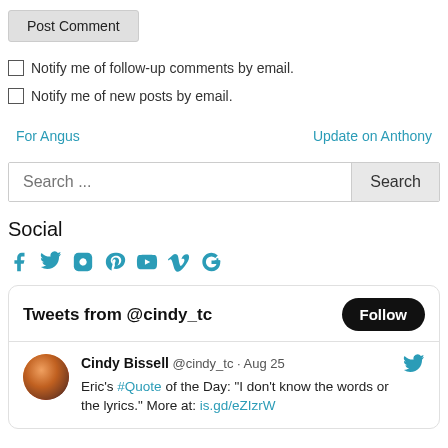Post Comment
Notify me of follow-up comments by email.
Notify me of new posts by email.
For Angus   Update on Anthony
[Figure (screenshot): Search bar with text field showing placeholder 'Search ...' and a Search button]
Social
[Figure (infographic): Row of social media icons: Facebook, Twitter, Instagram, Pinterest, YouTube, Vimeo, Google+]
[Figure (screenshot): Twitter widget: 'Tweets from @cindy_tc' with Follow button. Tweet by Cindy Bissell @cindy_tc Aug 25: Eric's #Quote of the Day: "I don't know the words or the lyrics." More at: is.gd/eZIzrW]